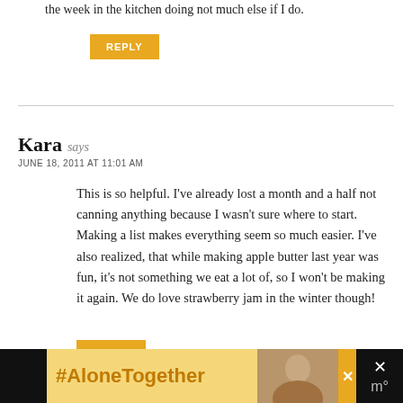the week in the kitchen doing not much else if I do.
REPLY
Kara says
JUNE 18, 2011 AT 11:01 AM
This is so helpful. I've already lost a month and a half not canning anything because I wasn't sure where to start. Making a list makes everything seem so much easier. I've also realized, that while making apple butter last year was fun, it's not something we eat a lot of, so I won't be making it again. We do love strawberry jam in the winter though!
REPLY
[Figure (infographic): #AloneTogether advertisement banner with woman in kitchen image and close buttons]